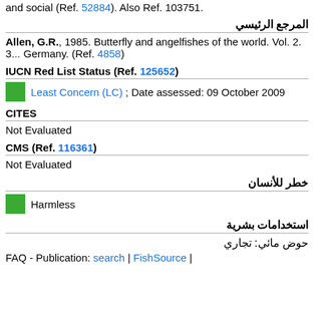and social (Ref. 52884). Also Ref. 103751.
المرجع الرئيسي
Allen, G.R., 1985. Butterfly and angelfishes of the world. Vol. 2. 3… Germany. (Ref. 4858)
IUCN Red List Status (Ref. 125652)
Least Concern (LC) ; Date assessed: 09 October 2009
CITES
Not Evaluated
CMS (Ref. 116361)
Not Evaluated
خطر للأنسان
Harmless
استخدامات بشرية
حوض مائي: تجاري
FAQ - Publication: search | FishSource |